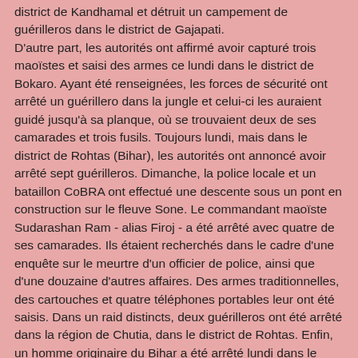district de Kandhamal et détruit un campement de guérilleros dans le district de Gajapati. D'autre part, les autorités ont affirmé avoir capturé trois maoïstes et saisi des armes ce lundi dans le district de Bokaro. Ayant été renseignées, les forces de sécurité ont arrêté un guérillero dans la jungle et celui-ci les auraient guidé jusqu'à sa planque, où se trouvaient deux de ses camarades et trois fusils. Toujours lundi, mais dans le district de Rohtas (Bihar), les autorités ont annoncé avoir arrêté sept guérilleros. Dimanche, la police locale et un bataillon CoBRA ont effectué une descente sous un pont en construction sur le fleuve Sone. Le commandant maoïste Sudarashan Ram - alias Firoj - a été arrêté avec quatre de ses camarades. Ils étaient recherchés dans le cadre d'une enquête sur le meurtre d'un officier de police, ainsi que d'une douzaine d'autres affaires. Des armes traditionnelles, des cartouches et quatre téléphones portables leur ont été saisis. Dans un raid distincts, deux guérilleros ont été arrêté dans la région de Chutia, dans le district de Rohtas. Enfin, un homme originaire du Bihar a été arrêté lundi dans le district de Hazaribagh. La police l'accuse d'avoir mis en place un réseau pour fournir des armes au maoïstes.